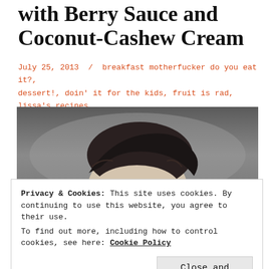with Berry Sauce and Coconut-Cashew Cream
July 25, 2013  /  breakfast motherfucker do you eat it?, dessert!, doin' it for the kids, fruit is rad, lissa's recipes, The Great Edmonds Cookbook Takeover
[Figure (photo): Black and white illustration/painting of a person's head with dark hair styled up, showing face partially, grey background]
Privacy & Cookies: This site uses cookies. By continuing to use this website, you agree to their use.
To find out more, including how to control cookies, see here: Cookie Policy
Close and accept
[Figure (photo): Bottom portion of another image, partially visible, showing a dark repeating pattern]